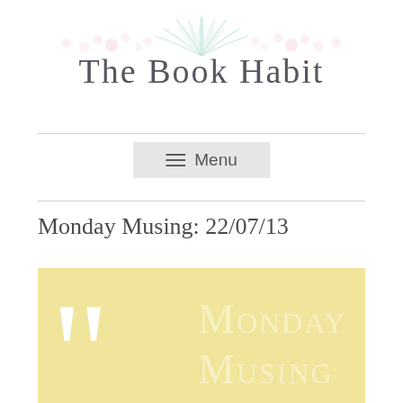[Figure (logo): The Book Habit blog logo with decorative floral/palm leaf illustration in pastel pink and teal above the text]
Monday Musing: 22/07/13
[Figure (illustration): Yellow/cream colored card with large white quotation marks on the left and the text MONDAY MUSING in white serif uppercase letters on the right]